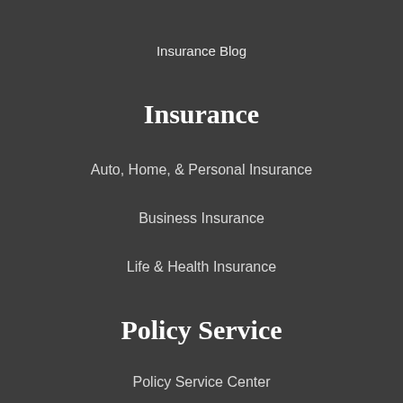Insurance Blog
Insurance
Auto, Home, & Personal Insurance
Business Insurance
Life & Health Insurance
Policy Service
Policy Service Center